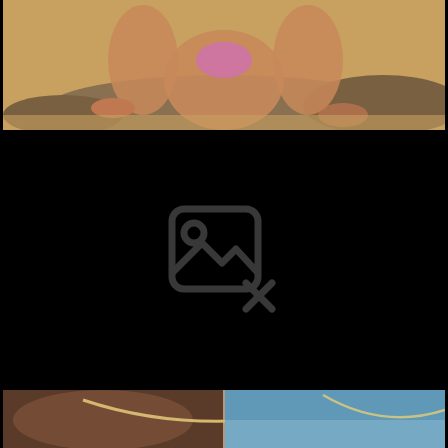[Figure (photo): Partial view of a person in a pink bikini sitting on rocks on a beach with sandy background]
[Figure (photo): Black panel with a broken/missing image placeholder icon (image with X mark)]
[Figure (photo): Partial view of a beach or water scene, bottom strip of page]